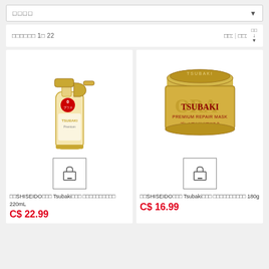□□□□ (dropdown filter)
□□□□□□ 1□ 22   □□: | □□:
[Figure (photo): Shiseido Tsubaki Premium Repair Mist spray bottle, gold/cream colored, 220mL]
[Figure (photo): Shiseido Tsubaki Premium Repair Mask jar, gold colored, 180g]
□□SHISEIDO□□□ Tsubaki□□□ □□□□□□□□□□ 220mL
C$ 22.99
□□SHISEIDO□□□ Tsubaki□□□ □□□□□□□□□□ 180g
C$ 16.99